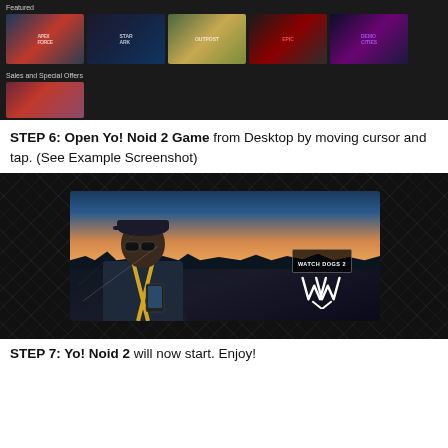[Figure (screenshot): Screenshot of a game store interface showing 'Featured' section with 5 game thumbnails and 'Sales and Special Offers' section with one thumbnail, on a dark background]
STEP 6: Open Yo! Noid 2 Game from Desktop by moving cursor and tap. (See Example Screenshot)
[Figure (screenshot): Screenshot showing the Watch Dogs 2 game launch screen on a dark diamond-pattern background, featuring a character in a cap holding a phone with the Watch Dogs 2 logo]
STEP 7: Yo! Noid 2 will now start. Enjoy!